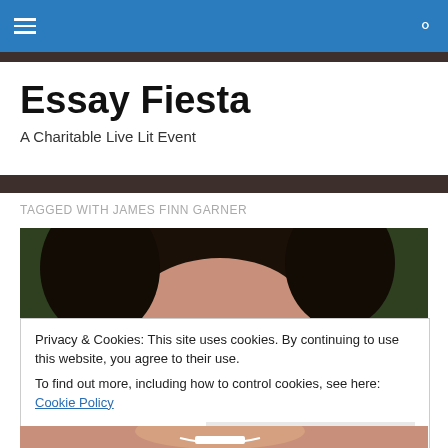Essay Fiesta navigation bar with hamburger menu and search icon
Essay Fiesta
A Charitable Live Lit Event
TAGGED WITH JAMES FINN GARNER
[Figure (photo): Top portion of a person's head with dark hair against a dark green background]
Privacy & Cookies: This site uses cookies. By continuing to use this website, you agree to their use.
To find out more, including how to control cookies, see here: Cookie Policy
[Figure (photo): Bottom strip showing a person smiling]